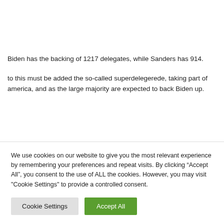Biden has the backing of 1217 delegates, while Sanders has 914.
to this must be added the so-called superdelegerede, taking part of america, and as the large majority are expected to back Biden up.
We use cookies on our website to give you the most relevant experience by remembering your preferences and repeat visits. By clicking “Accept All”, you consent to the use of ALL the cookies. However, you may visit "Cookie Settings" to provide a controlled consent.